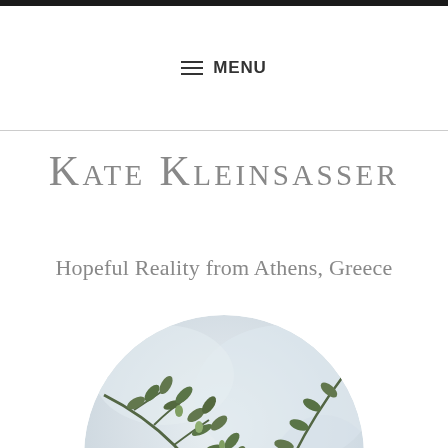MENU
Kate Kleinsasser
Hopeful Reality from Athens, Greece
[Figure (photo): Circular cropped photo of a person partially obscured by olive tree branches with green leaves and small olives, background is soft blurred light sky.]